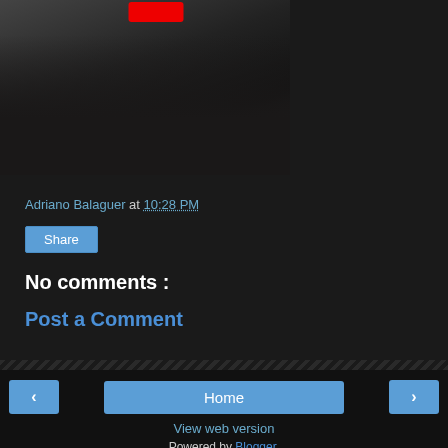[Figure (photo): Black and white photograph partially visible at top of page, with a red button/badge overlay near the top center]
Adriano Balaguer at 10:28 PM
Share
No comments :
Post a Comment
< Home > View web version Powered by Blogger.